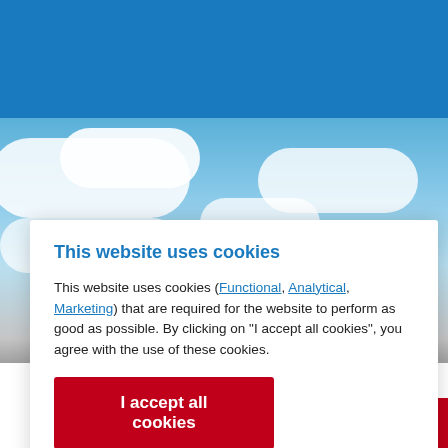[Figure (screenshot): Visit Friesland website navigation bar with red menu button, white logo box with 'VISIT FRIESLAND' text, and blue background with location pin, search, and EN icons]
[Figure (photo): Blue sky with white clouds background image]
This website uses cookies
This website uses cookies (Functional, Analytical, Marketing) that are required for the website to perform as good as possible. By clicking on "I accept all cookies", you agree with the use of these cookies.
I accept all cookies
I want to set my cookie settings manually